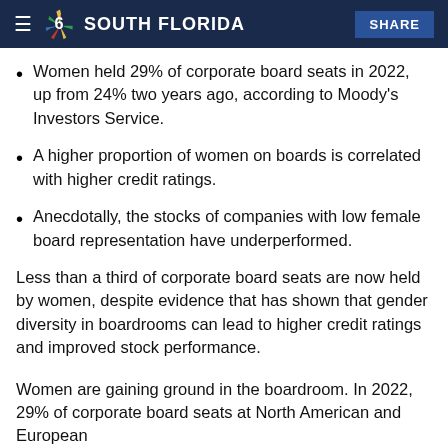NBC 6 SOUTH FLORIDA  SHARE
Women held 29% of corporate board seats in 2022, up from 24% two years ago, according to Moody's Investors Service.
A higher proportion of women on boards is correlated with higher credit ratings.
Anecdotally, the stocks of companies with low female board representation have underperformed.
Less than a third of corporate board seats are now held by women, despite evidence that has shown that gender diversity in boardrooms can lead to higher credit ratings and improved stock performance.
Women are gaining ground in the boardroom. In 2022, 29% of corporate board seats at North American and European